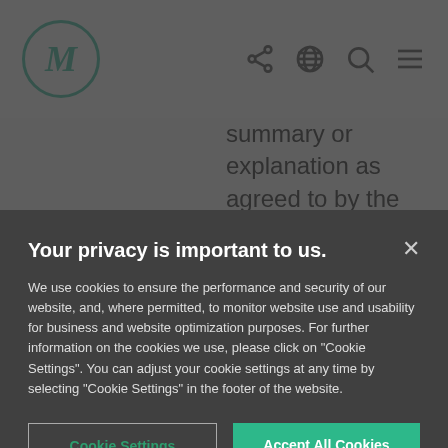[Figure (logo): M logo in a circle with dark teal color]
summary or explanation as agreed to by the individual
Receiving an
Your privacy is important to us.
We use cookies to ensure the performance and security of our website, and, where permitted, to monitor website use and usability for business and website optimization purposes. For further information on the cookies we use, please click on "Cookie Settings". You can adjust your cookie settings at any time by selecting "Cookie Settings" in the footer of the website.
Cookie Settings
Accept All Cookies